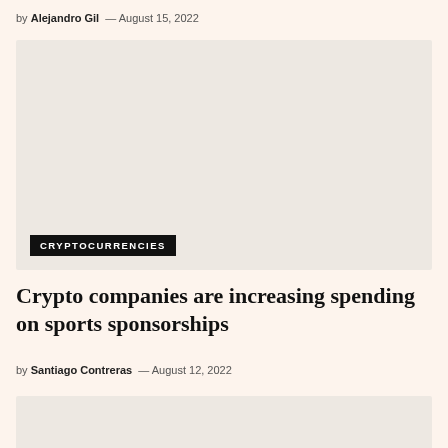by Alejandro Gil — August 15, 2022
[Figure (photo): Large image placeholder with light beige background, with a CRYPTOCURRENCIES category label overlaid at bottom left]
Crypto companies are increasing spending on sports sponsorships
by Santiago Contreras — August 12, 2022
[Figure (photo): Partial image placeholder with light beige background at bottom of page]